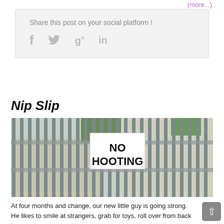(more...)
Share this post on your social platform !
[Figure (other): Social sharing icons: Facebook (f), Twitter (bird), Google+ (g+), LinkedIn (in)]
Nip Slip
[Figure (photo): Photo of metal fence/gate bars with a sign reading 'NO HOOTING' in bold black text on white background, with a building and trees visible behind.]
At four months and change, our new little guy is going strong. He likes to smile at strangers, grab for toys, roll over from back to